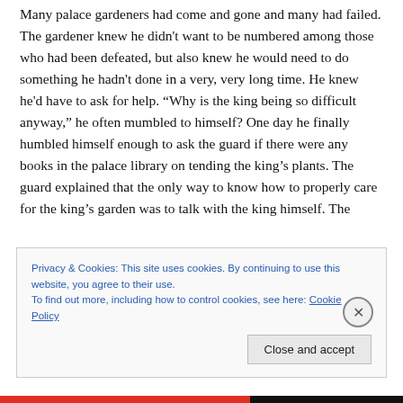Many palace gardeners had come and gone and many had failed. The gardener knew he didn't want to be numbered among those who had been defeated, but also knew he would need to do something he hadn't done in a very, very long time. He knew he'd have to ask for help. “Why is the king being so difficult anyway,” he often mumbled to himself? One day he finally humbled himself enough to ask the guard if there were any books in the palace library on tending the king’s plants. The guard explained that the only way to know how to properly care for the king’s garden was to talk with the king himself. The
Privacy & Cookies: This site uses cookies. By continuing to use this website, you agree to their use.
To find out more, including how to control cookies, see here: Cookie Policy
Close and accept